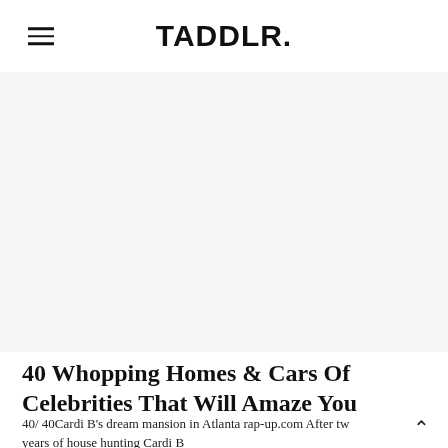TADDLR.
[Figure (photo): Large image placeholder area (white/light grey background), appears to be a celebrity home or car photo that did not load]
40 Whopping Homes & Cars Of Celebrities That Will Amaze You
40/ 40Cardi B's dream mansion in Atlanta rap-up.com After two years of house hunting Cardi B